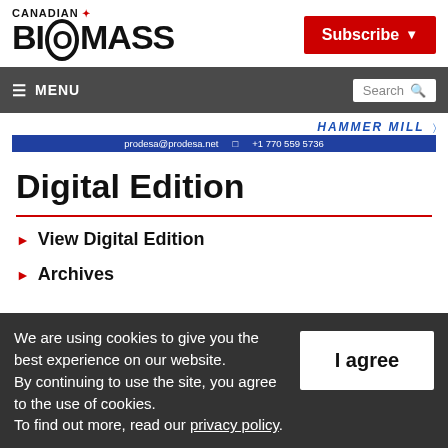CANADIAN BIOMASS
[Figure (screenshot): Subscribe button (red background, white text, dropdown arrow)]
[Figure (screenshot): Navigation bar with hamburger MENU and Search box]
[Figure (screenshot): Advertisement banner: HAMMER MILL, prodesa@prodesa.net, +1 770 559 5736]
Digital Edition
View Digital Edition
Archives
We are using cookies to give you the best experience on our website. By continuing to use the site, you agree to the use of cookies. To find out more, read our privacy policy.